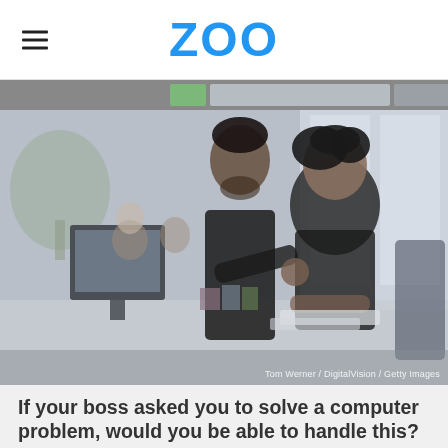ZOO
[Figure (photo): Black and white office scene: a man leaning over a desk pointing at a computer monitor while a woman seated at the desk looks at the screen. Other office workers visible in the background with plants.]
Tom Werner / DigitalVision / Getty Images
If your boss asked you to solve a computer problem, would you be able to handle this?